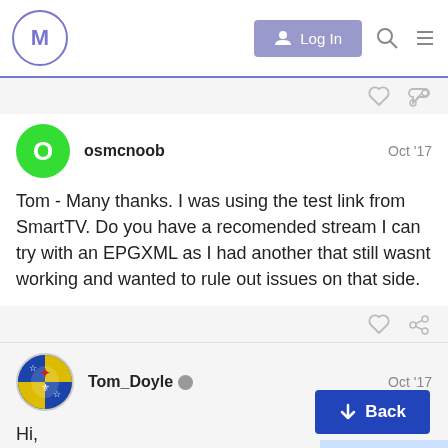M | Log In
osmcnoob  Oct '17

Tom - Many thanks. I was using the test link from SmartTV. Do you have a recomended stream I can try with an EPGXML as I had another that still wasnt working and wanted to rule out issues on that side.
Tom_Doyle  Oct '17

Hi,

No sorry not used epgxml, I just use the d
2 / 5